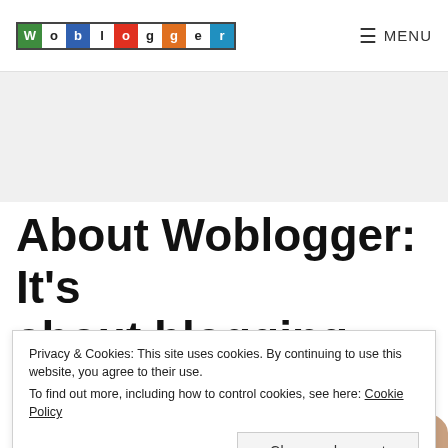Woblogger   MENU
About Woblogger: It's about blogging
Privacy & Cookies: This site uses cookies. By continuing to use this website, you agree to their use. To find out more, including how to control cookies, see here: Cookie Policy
Close and accept
My name is Niantha